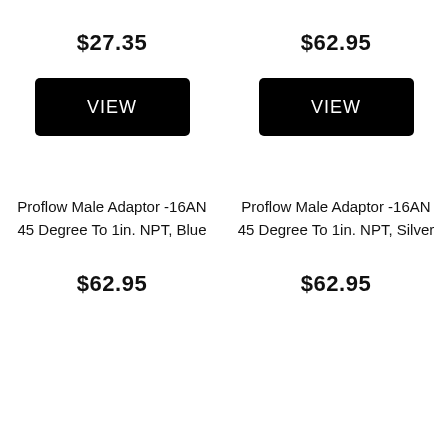$27.35
$62.95
VIEW
VIEW
Proflow Male Adaptor -16AN 45 Degree To 1in. NPT, Blue
Proflow Male Adaptor -16AN 45 Degree To 1in. NPT, Silver
$62.95
$62.95